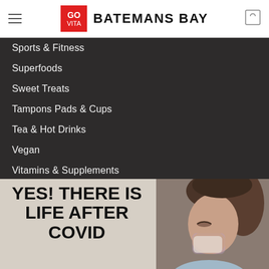GO VITA BATEMANS BAY
Sports & Fitness
Superfoods
Sweet Treats
Tampons Pads & Cups
Tea & Hot Drinks
Vegan
Vitamins & Supplements
Blog
[Figure (photo): Blog article image featuring bold text 'YES! THERE IS LIFE AFTER COVID' on a light background beside a photo of a woman sneezing or feeling ill]